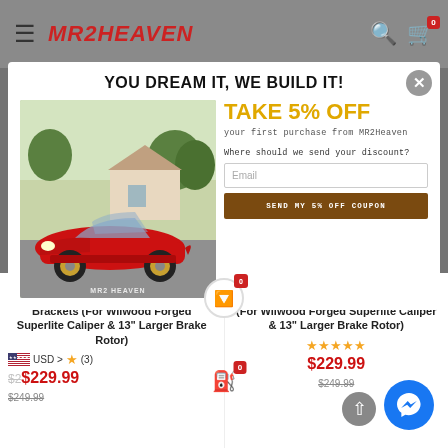MR2HEAVEN
YOU DREAM IT, WE BUILD IT!
TAKE 5% OFF your first purchase from MR2Heaven
Where should we send your discount?
Email
SEND MY 5% OFF COUPON
[Figure (photo): Red Toyota MR2 sports car parked in a suburban driveway]
SW20 MR2 Front Big Brake Kit Brackets (For Wilwood Forged Superlite Caliper & 13" Larger Brake Rotor)
USD > ★ (3) $229.99 $249.99
SW20 MR2 Rear Big Brake Kit Brackets (For Wilwood Forged Superlite Caliper & 13" Larger Brake Rotor)
★★★★★ $229.99 $249.99